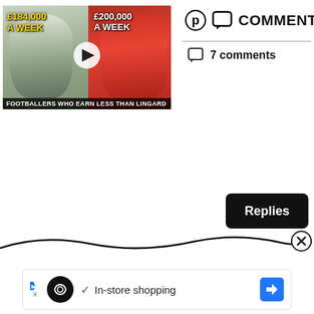[Figure (screenshot): Video thumbnail showing two footballers with text overlays '£184,000 A WEEK' and '£200,000 A WEEK', with caption 'Footballers Who Earn Less Than Lingard']
COMMENTS
7 comments
[Figure (other): Black 'Replies' button]
[Figure (other): Wavy decorative line with X close button]
[Figure (other): Advertisement bar showing loop/infinity logo, checkmark, 'In-store shopping' text, and blue arrow icon]